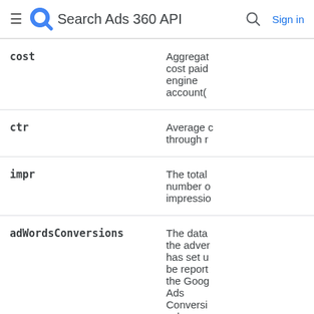Search Ads 360 API
| Field | Description |
| --- | --- |
| cost | Aggregated cost paid engine account( |
| ctr | Average click through r |
| impr | The total number of impressio |
| adWordsConversions | The data the adver has set u be report the Goog Ads Conversi column. |